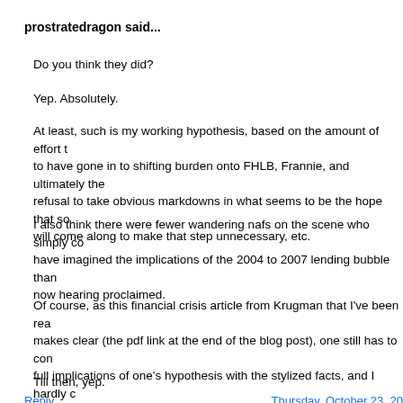prostratedragon said...
Do you think they did?
Yep. Absolutely.
At least, such is my working hypothesis, based on the amount of effort that appears to have gone in to shifting burden onto FHLB, Frannie, and ultimately the taxpayer, the refusal to take obvious markdowns in what seems to be the hope that someone will come along to make that step unnecessary, etc.
I also think there were fewer wandering nafs on the scene who simply could not have imagined the implications of the 2004 to 2007 lending bubble than are now hearing proclaimed.
Of course, as this financial crisis article from Krugman that I've been reading makes clear (the pdf link at the end of the blog post), one still has to confront the full implications of one's hypothesis with the stylized facts, and I hardly claim to have done that yet.
Till then, yep.
Reply    Thursday, October 23, 20...